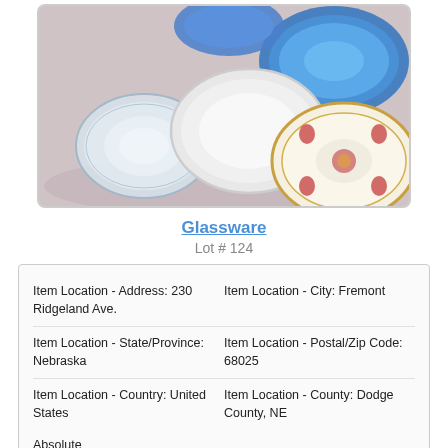[Figure (photo): Photo of assorted glassware including blue vaseline glass serving dishes, milk glass platter, small glass handled plate, Wedgewood bone china plate, and milk glass dish arranged on a light surface.]
Glassware
Lot # 124
| Item Location - Address: 230 Ridgeland Ave. | Item Location - City: Fremont |
| Item Location - State/Province: Nebraska | Item Location - Postal/Zip Code: 68025 |
| Item Location - Country: United States | Item Location - County: Dodge County, NE |
| Absolute |  |
(2) Blue Vaseline Glass Serving Dishes, (2) Milk Glass Platter, (1) Small Glass Handled Plate, (1) Wedgewood Bone China Plate, (1) Milk Glass Dish